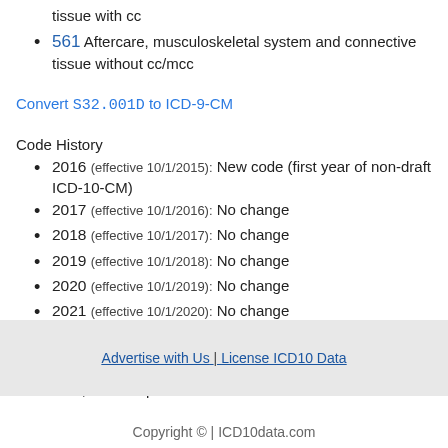tissue with cc
561 Aftercare, musculoskeletal system and connective tissue without cc/mcc
Convert S32.001D to ICD-9-CM
Code History
2016 (effective 10/1/2015): New code (first year of non-draft ICD-10-CM)
2017 (effective 10/1/2016): No change
2018 (effective 10/1/2017): No change
2019 (effective 10/1/2018): No change
2020 (effective 10/1/2019): No change
2021 (effective 10/1/2020): No change
2022 (effective 10/1/2021): No change
Reimbursement claims with a date of service on or after October 1, 2015 require the use of ICD-10-CM codes.
Advertise with Us | License ICD10 Data
Copyright © | ICD10data.com